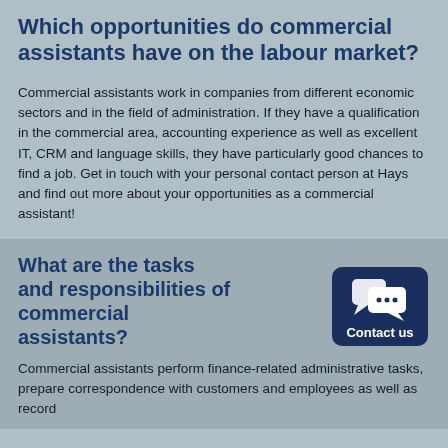Which opportunities do commercial assistants have on the labour market?
Commercial assistants work in companies from different economic sectors and in the field of administration. If they have a qualification in the commercial area, accounting experience as well as excellent IT, CRM and language skills, they have particularly good chances to find a job. Get in touch with your personal contact person at Hays and find out more about your opportunities as a commercial assistant!
What are the tasks and responsibilities of commercial assistants?
[Figure (illustration): Contact us button with speech bubble icons on dark navy background with teal accent bar]
Commercial assistants perform finance-related administrative tasks, prepare correspondence with customers and employees as well as record